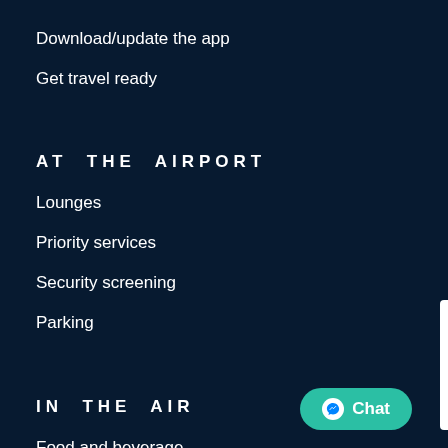Download/update the app
Get travel ready
AT THE AIRPORT
Lounges
Priority services
Security screening
Parking
IN THE AIR
Food and beverage
Entertainment
Our aircraft
Cabins